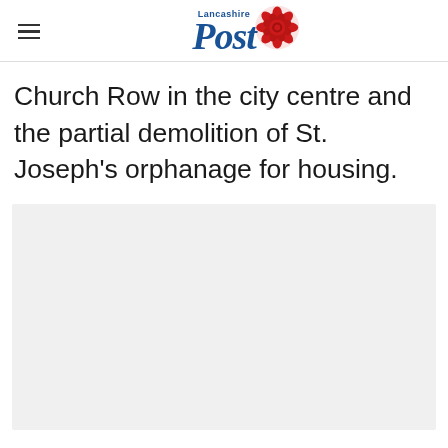Lancashire Post
Church Row in the city centre and the partial demolition of St. Joseph’s orphanage for housing.
[Figure (photo): Light grey placeholder image area below the article text]